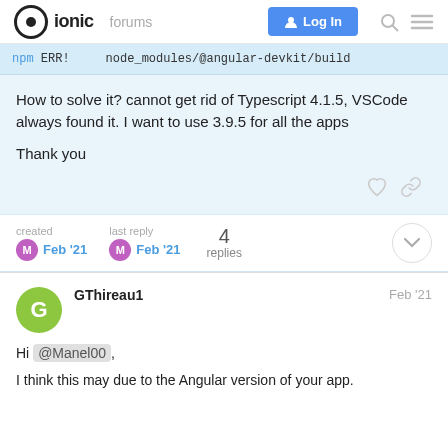ionic forums | Log In
npm ERR!    node_modules/@angular-devkit/build
How to solve it? cannot get rid of Typescript 4.1.5, VSCode always found it. I want to use 3.9.5 for all the apps

Thank you
created Feb '21  last reply Feb '21  4 replies
GThireau1  Feb '21
Hi @Manel00,

I think this may due to the Angular version of your app.